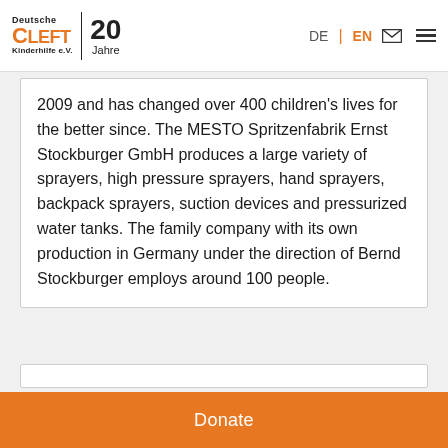Deutsche CLEFT Kinderhilfe e.V. | 20 Jahre | DE | EN
2009 and has changed over 400 children's lives for the better since. The MESTO Spritzenfabrik Ernst Stockburger GmbH produces a large variety of sprayers, high pressure sprayers, hand sprayers, backpack sprayers, suction devices and pressurized water tanks. The family company with its own production in Germany under the direction of Bernd Stockburger employs around 100 people.
Donate